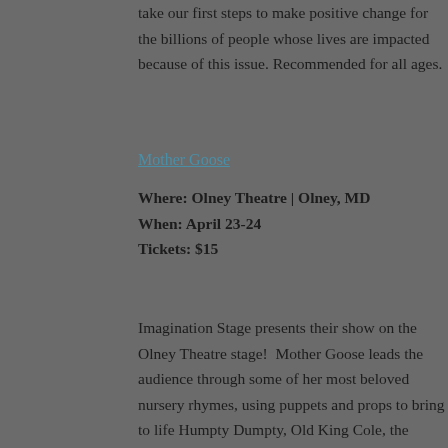take our first steps to make positive change for the billions of people whose lives are impacted because of this issue. Recommended for all ages.
Mother Goose
Where: Olney Theatre | Olney, MD
When: April 23-24
Tickets: $15
Imagination Stage presents their show on the Olney Theatre stage!  Mother Goose leads the audience through some of her most beloved nursery rhymes, using puppets and props to bring to life Humpty Dumpty, Old King Cole, the Eensy Weensy Spider, and more. The magical Mother Goose invites your